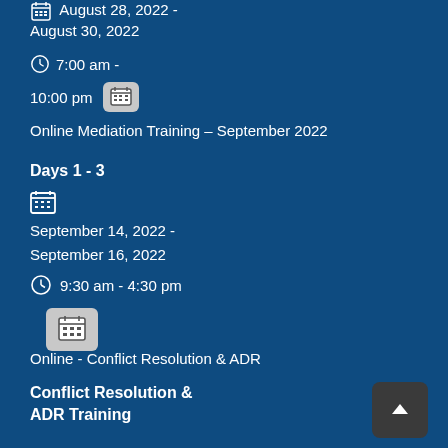August 28, 2022 - August 30, 2022
7:00 am - 10:00 pm
Online Mediation Training – September 2022
Days 1 - 3
September 14, 2022 - September 16, 2022
9:30 am - 4:30 pm
Online - Conflict Resolution & ADR
Conflict Resolution & ADR Training